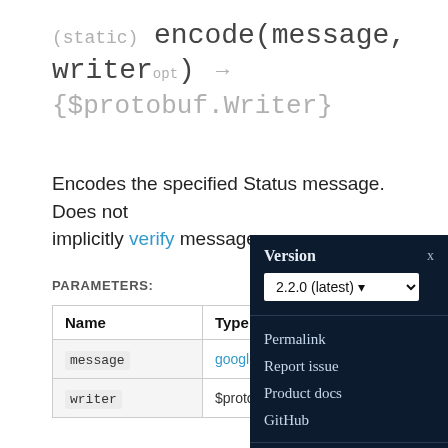(static) encode(message, writer_opt) → {$protobuf.Writer}
Encodes the specified Status message. Does not implicitly verify messages.
PARAMETERS:
| Name | Type |
| --- | --- |
| message | google.rpc.ISta… |
| writer | $protobuf.Write… |
[Figure (screenshot): Dark popup overlay with Version selector (2.2.0 latest), links: Permalink, Report issue, Product docs, GitHub, close button X, and footer with Privacy · Terms]